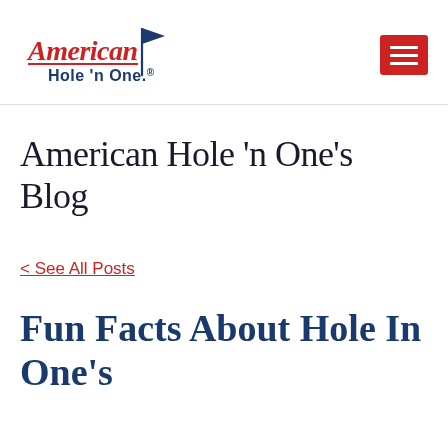[Figure (logo): American Hole 'n One logo with red cursive 'American' text, blue 'Hole n One' text, and a golf flag icon]
American Hole 'n One's Blog
< See All Posts
Fun Facts About Hole In One's